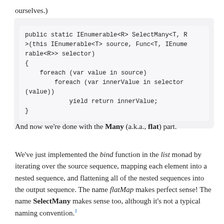ourselves.)
public static IEnumerable<R> SelectMany<T, R>
>(this IEnumerable<T> source, Func<T, IEnumerable<R>> selector)
{
    foreach (var value in source)
        foreach (var innerValue in selector(value))
            yield return innerValue;
}
And now we're done with the Many (a.k.a., flat) part.
We've just implemented the bind function in the list monad by iterating over the source sequence, mapping each element into a nested sequence, and flattening all of the nested sequences into the output sequence. The name flatMap makes perfect sense! The name SelectMany makes sense too, although it's not a typical naming convention.1